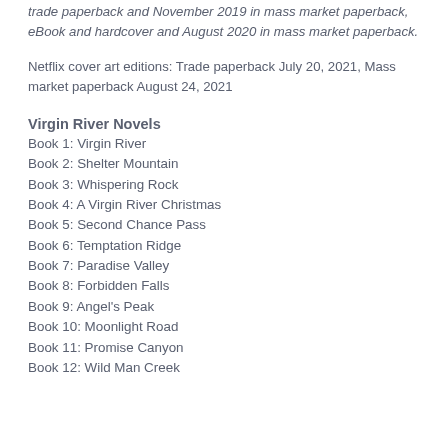trade paperback and November 2019 in mass market paperback, eBook and hardcover and August 2020 in mass market paperback.
Netflix cover art editions: Trade paperback July 20, 2021, Mass market paperback August 24, 2021
Virgin River Novels
Book 1: Virgin River
Book 2: Shelter Mountain
Book 3: Whispering Rock
Book 4: A Virgin River Christmas
Book 5: Second Chance Pass
Book 6: Temptation Ridge
Book 7: Paradise Valley
Book 8: Forbidden Falls
Book 9: Angel's Peak
Book 10: Moonlight Road
Book 11: Promise Canyon
Book 12: Wild Man Creek